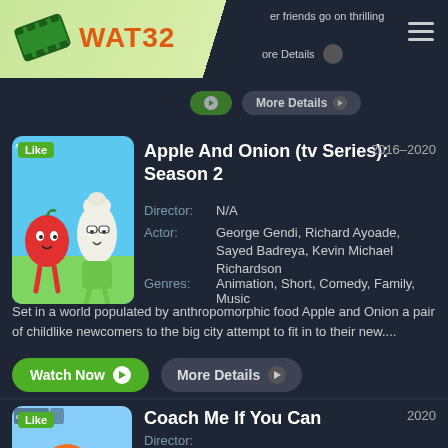WAT32
Apple And Onion (tv Series): Season 2
2016–2020
Director: N/A
Actor: George Gendi, Richard Ayoade, Sayed Badreya, Kevin Michael Richardson
Genres: Animation, Short, Comedy, Family, Music
Set in a world populated by anthropomorphic food Apple and Onion a pair of childlike newcomers to the big city attempt to fit in to their new....
Coach Me If You Can
2020
Director:
Actor:
Genres: Animation, Cartoon, Comedy
Country: USA